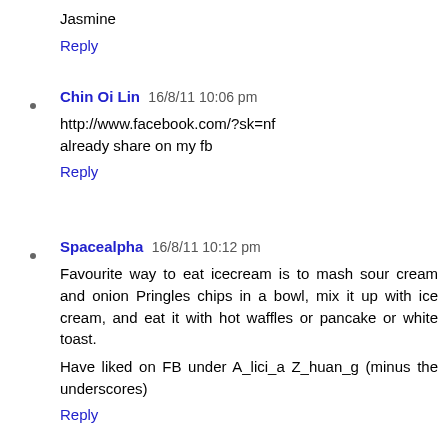Jasmine
Reply
Chin Oi Lin  16/8/11 10:06 pm
http://www.facebook.com/?sk=nf
already share on my fb
Reply
Spacealpha  16/8/11 10:12 pm
Favourite way to eat icecream is to mash sour cream and onion Pringles chips in a bowl, mix it up with ice cream, and eat it with hot waffles or pancake or white toast.

Have liked on FB under A_lici_a Z_huan_g (minus the underscores)
Reply